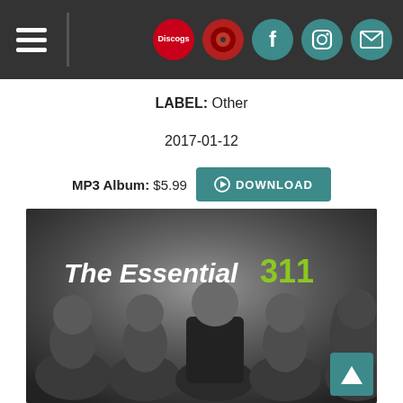Navigation header with hamburger menu and social icons (Discogs, Facebook, Instagram, Mail)
LABEL: Other
2017-01-12
MP3 Album: $5.99  DOWNLOAD
[Figure (photo): Black and white photo of the band 311 (five members) with 'The Essential 311' text overlay in white and green logo]